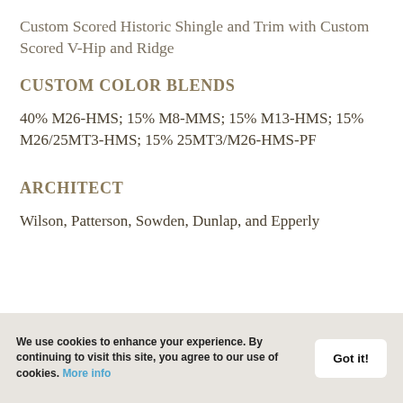Custom Scored Historic Shingle and Trim with Custom Scored V-Hip and Ridge
CUSTOM COLOR BLENDS
40% M26-HMS; 15% M8-MMS; 15% M13-HMS; 15% M26/25MT3-HMS; 15% 25MT3/M26-HMS-PF
ARCHITECT
Wilson, Patterson, Sowden, Dunlap, and Epperly
We use cookies to enhance your experience. By continuing to visit this site, you agree to our use of cookies. More info